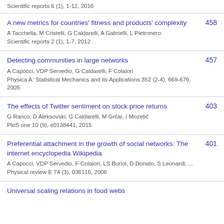Scientific reports 6 (1), 1-12, 2016
A new metrics for countries' fitness and products' complexity
A Tacchella, M Cristelli, G Caldarelli, A Gabrielli, L Pietronero
Scientific reports 2 (1), 1-7, 2012
Detecting communities in large networks
A Capocci, VDP Servedio, G Caldarelli, F Colaiori
Physica A: Statistical Mechanics and its Applications 352 (2-4), 669-676, 2005
The effects of Twitter sentiment on stock price returns
G Ranco, D Aleksovski, G Caldarelli, M Grčar, I Mozetič
PloS one 10 (9), e0138441, 2015
Preferential attachment in the growth of social networks: The internet encyclopedia Wikipedia
A Capocci, VDP Servedio, F Colaiori, LS Buriol, D Donato, S Leonardi, ...
Physical review E 74 (3), 036116, 2006
Universal scaling relations in food webs